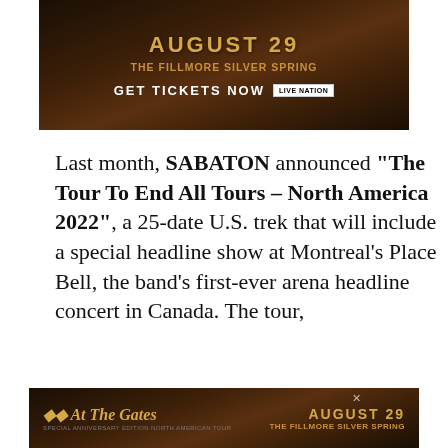[Figure (other): Advertisement banner for a concert at The Fillmore Silver Spring on August 29, showing 'GET TICKETS NOW' with Live Nation branding, dark brown background with decorative imagery]
Last month, SABATON announced "The Tour To End All Tours – North America 2022", a 25-date U.S. trek that will include a special headline show at Montreal's Place Bell, the band's first-ever arena headline concert in Canada. The tour,
This website uses cookies and other tracking technologies to enhance user experience and to analyze performance and traffic on our website. Information about your use of our site may also be shared with social media, advertising, retail and analytics providers and partners.  Privacy Policy
[Figure (other): Advertisement banner for At The Gates concert at The Fillmore Silver Spring on August 29, dark background with band logo and concert details]